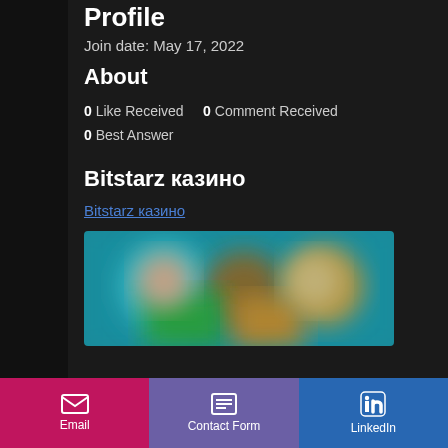Profile
Join date: May 17, 2022
About
0 Like Received   0 Comment Received
0 Best Answer
Bitstarz казино
Bitstarz казино
[Figure (photo): Blurred promotional image for Bitstarz casino with colorful characters on teal/cyan background]
Email   Contact Form   LinkedIn